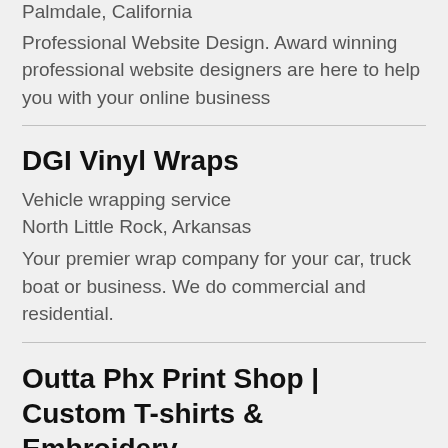Palmdale, California
Professional Website Design. Award winning professional website designers are here to help you with your online business
DGI Vinyl Wraps
Vehicle wrapping service
North Little Rock, Arkansas
Your premier wrap company for your car, truck boat or business. We do commercial and residential.
Outta Phx Print Shop | Custom T-shirts & Embroidery,